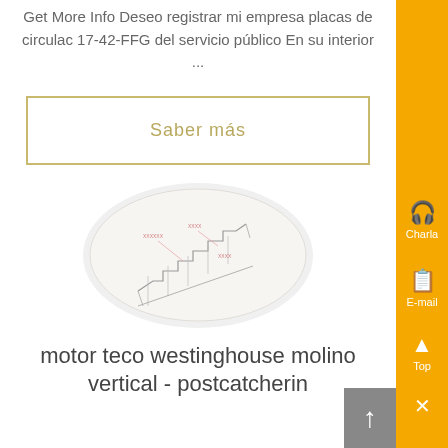Get More Info Deseo registrar mi empresa placas de circulac 17-42-FFG del servicio público En su interior ...
Saber más
[Figure (engineering-diagram): An oval/ellipse shaped image containing what appears to be a technical engineering sketch of stairs or a staircase structure with annotations]
motor teco westinghouse molino vertical - postcatcherin